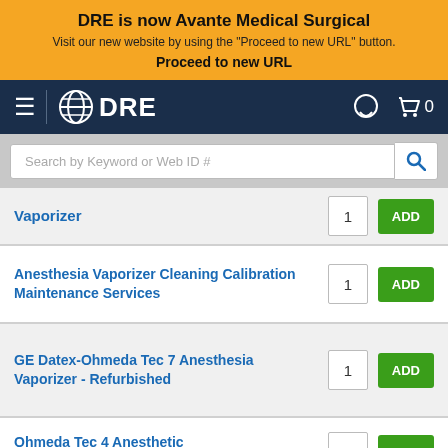DRE is now Avante Medical Surgical
Visit our new website by using the "Proceed to new URL" button.
Proceed to new URL
[Figure (logo): DRE logo with globe icon on dark navy navigation bar]
Search by Keyword or Web ID #
Vaporizer
Anesthesia Vaporizer Cleaning Calibration Maintenance Services
GE Datex-Ohmeda Tec 7 Anesthesia Vaporizer - Refurbished
Ohmeda Tec 4 Anesthetic Vaporizer Refurbished